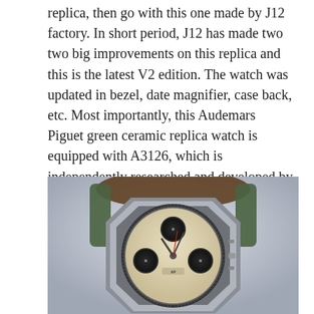replica, then go with this one made by J12 factory. In short period, J12 has made two two big improvements on this replica and this is the latest V2 edition. The watch was updated in bezel, date magnifier, case back, etc. Most importantly, this Audemars Piguet green ceramic replica watch is equipped with A3126, which is independently researched and developed by J12 factory. The A3126 has a extremely high accuracy and reliability. By the way, J12 factory also offers one pair of green rubber strap for free, but the quantity is limited.
[Figure (photo): Close-up photo of an Audemars Piguet Royal Oak Offshore chronograph watch with a cream/champagne colored dial, multiple sub-dials, and a green rubber strap, resting on what appears to be a brown leather surface against a light gray background.]